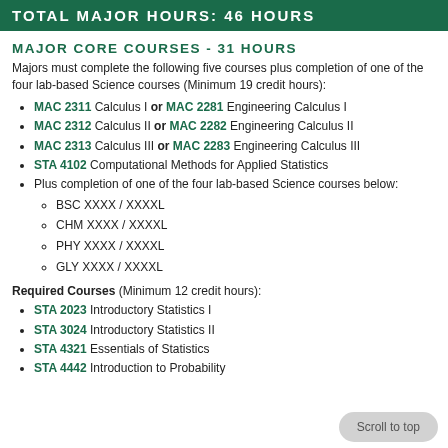TOTAL MAJOR HOURS: 46 HOURS
MAJOR CORE COURSES - 31 HOURS
Majors must complete the following five courses plus completion of one of the four lab-based Science courses (Minimum 19 credit hours):
MAC 2311 Calculus I or MAC 2281 Engineering Calculus I
MAC 2312 Calculus II or MAC 2282 Engineering Calculus II
MAC 2313 Calculus III or MAC 2283 Engineering Calculus III
STA 4102 Computational Methods for Applied Statistics
Plus completion of one of the four lab-based Science courses below: BSC XXXX / XXXXL, CHM XXXX / XXXXL, PHY XXXX / XXXXL, GLY XXXX / XXXXL
Required Courses (Minimum 12 credit hours):
STA 2023 Introductory Statistics I
STA 3024 Introductory Statistics II
STA 4321 Essentials of Statistics
STA 4442 Introduction to Probability